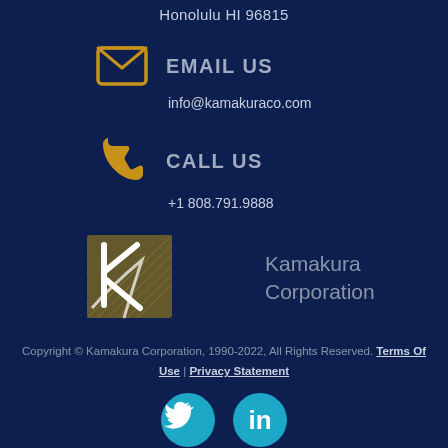Honolulu HI 96815
EMAIL US
info@kamakuraco.com
CALL US
+1 808.791.9888
[Figure (logo): Kamakura Corporation logo with stylized K and text]
Copyright © Kamakura Corporation, 1990-2022, All Rights Reserved. Terms Of Use | Privacy Statement
[Figure (illustration): Twitter and LinkedIn social media icons]